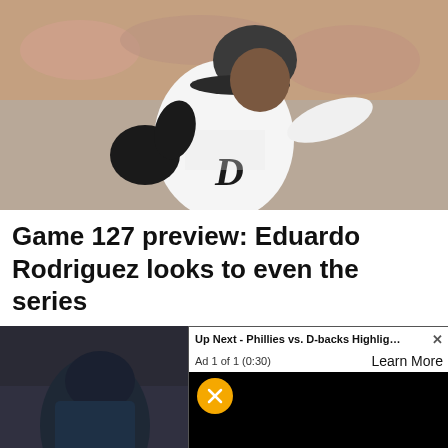[Figure (photo): Baseball pitcher in Detroit Tigers white uniform with Old English D logo, mid-throwing motion, wearing black glove and cap]
Game 127 preview: Eduardo Rodriguez looks to even the series
[Figure (photo): Baseball player with FRAZIER jersey number 9 in dark uniform, partially visible, with a video overlay showing 'Up Next - Phillies vs. D-backs Highlights ...' popup ad with mute button and Learn More link]